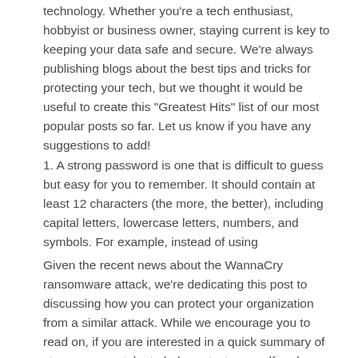technology. Whether you're a tech enthusiast, hobbyist or business owner, staying current is key to keeping your data safe and secure. We're always publishing blogs about the best tips and tricks for protecting your tech, but we thought it would be useful to create this "Greatest Hits" list of our most popular posts so far. Let us know if you have any suggestions to add!
1. A strong password is one that is difficult to guess but easy for you to remember. It should contain at least 12 characters (the more, the better), including capital letters, lowercase letters, numbers, and symbols. For example, instead of using
Given the recent news about the WannaCry ransomware attack, we're dedicating this post to discussing how you can protect your organization from a similar attack. While we encourage you to read on, if you are interested in a quick summary of steps you can take to help protect yourself and your data, see our infographic below.